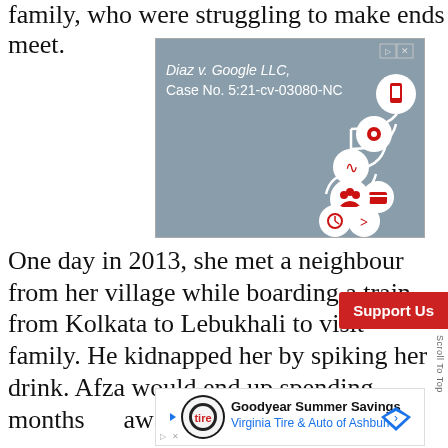family, who were struggling to make ends meet.
[Figure (illustration): Advertisement box with blue-grey background showing 'Diaz v. Google LLC, Case No. 5:21-cv-03080-NC' text and tech icons graphic]
One day in 2013, she met a neighbour from her village while boarding a train from Kolkata to Lebukhali to visit family. He kidnapped her by spiking her drink. Afza would end up spending months away on the...
[Figure (illustration): Goodyear Summer Savings - Virginia Tire & Auto of Ashburn advertisement banner]